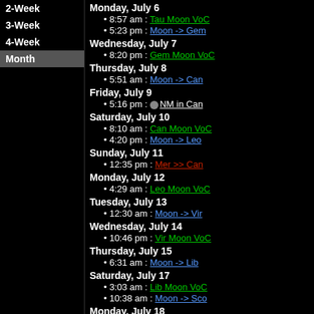2-Week
3-Week
4-Week
Month (active)
Monday, July 6
8:57 am : Tau Moon VoC
5:23 pm : Moon -> Gem
Wednesday, July 7
8:20 pm : Gem Moon VoC
Thursday, July 8
5:51 am : Moon -> Can
Friday, July 9
5:16 pm : NM in Can
Saturday, July 10
8:10 am : Can Moon VoC
4:20 pm : Moon -> Leo
Sunday, July 11
12:35 pm : Mer >> Can
Monday, July 12
4:29 am : Leo Moon VoC
Tuesday, July 13
12:30 am : Moon -> Vir
Wednesday, July 14
10:46 pm : Vir Moon VoC
Thursday, July 15
6:31 am : Moon -> Lib
Saturday, July 17
3:03 am : Lib Moon VoC
10:38 am : Moon -> Sco
Monday, July 18